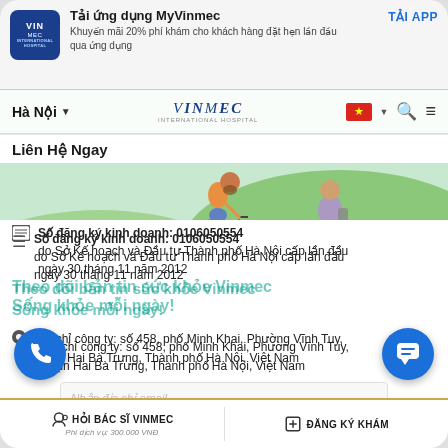[Figure (screenshot): Vinmec International Hospital mobile website screenshot showing app download banner, navigation bar with Hà Nội location and Vietnamese flag, hero illustration of people cycling, contact information section with business registration number, address, and bottom action bar for doctor consultation and appointment booking]
Tải ứng dụng MyVinmec
Khuyến mãi 20% phí khám cho khách hàng đặt hẹn lần đầu qua ứng dụng
TẢI APP
Hà Nội
VinMec INTERNATIONAL HOSPITAL
Liên Hệ Ngay
Số đăng ký kinh doanh: 0106050554
do Sở Kế hoạch và Đầu tư Thành phố Hà Nội cấp lần đầu ngày 30 tháng 11 năm 2012
Theo dõi bản tin sức khỏe Vinmec
Sống khỏe mỗi ngày!
Địa chỉ công ty: số 458, phố Minh Khai, Phường Vĩnh Tuy, Quận Hai Bà Trưng, Thành phố Hà Nội, Việt Nam
Nhập địa chỉ email
Các chuyên đề quan tâm
HỎI BÁC SĨ VINMEC | Phí dịch vụ: 300.000 VNĐ | ĐĂNG KÝ KHÁM